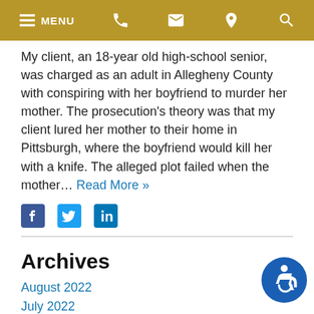MENU [phone] [email] [location] [search]
My client, an 18-year old high-school senior, was charged as an adult in Allegheny County with conspiring with her boyfriend to murder her mother. The prosecution's theory was that my client lured her mother to their home in Pittsburgh, where the boyfriend would kill her with a knife. The alleged plot failed when the mother... Read More »
[Figure (infographic): Social media sharing icons: Facebook, Twitter, LinkedIn]
Archives
August 2022
July 2022
June 2022
May 2022
April 2022
[Figure (infographic): Accessibility icon — blue circle with wheelchair symbol]